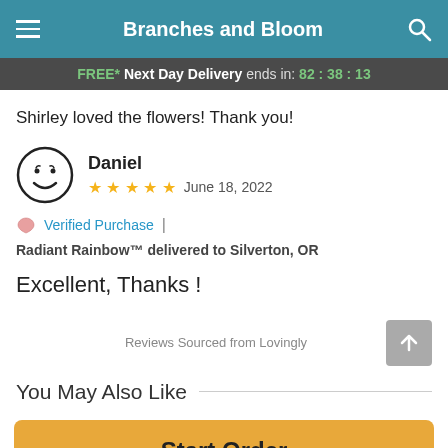Branches and Bloom
FREE* Next Day Delivery ends in: 82:38:13
Shirley loved the flowers! Thank you!
Daniel  ★★★★★  June 18, 2022
💝 Verified Purchase  |  Radiant Rainbow™ delivered to Silverton, OR
Excellent, Thanks !
Reviews Sourced from Lovingly
You May Also Like
Start Order